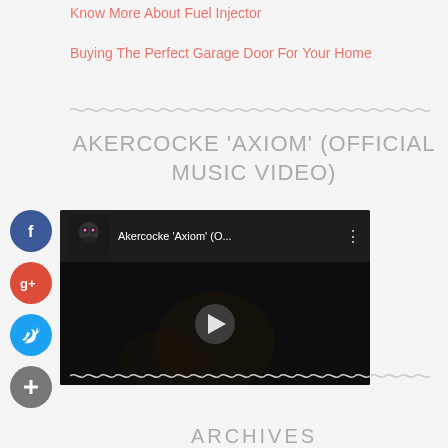Know More About Fuel Injector
Buying The Perfect Garage Door For Your Home
AKERCOCKE 'AXIOM' (OFFICIAL MUSIC VIDEO)
[Figure (screenshot): Embedded YouTube video thumbnail showing Akercocke 'Axiom' (O... with play button, dark background, and video avatar]
ARCHIVES